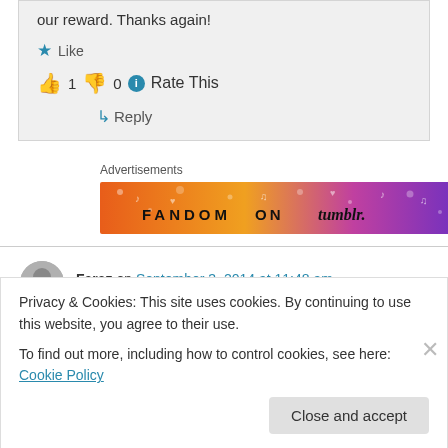our reward. Thanks again!
★ Like
👍 1 👎 0 ℹ Rate This
↳ Reply
Advertisements
[Figure (illustration): FANDOM ON tumblr advertisement banner with colorful orange-to-purple gradient background with music notes, hearts, and decorative icons]
Faraz on September 3, 2014 at 11:48 am
Privacy & Cookies: This site uses cookies. By continuing to use this website, you agree to their use.
To find out more, including how to control cookies, see here: Cookie Policy
Close and accept